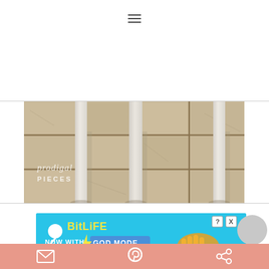[Figure (other): Hamburger/navigation menu icon (three horizontal lines)]
[Figure (photo): Photo of white furniture legs (table/chair) on beige/tan tile floor with grout lines, with 'prodigal PIECES' watermark text overlaid in the lower left corner]
[Figure (screenshot): Advertisement banner for BitLife mobile game showing 'NOW WITH GOD MODE' text, lightning bolt graphic, and cartoon hand pointing. Teal/cyan background with close (X) and help (?) buttons.]
[Figure (other): Bottom share/action bar with email, Pinterest pin, and share icons on a salmon/pink-coral background]